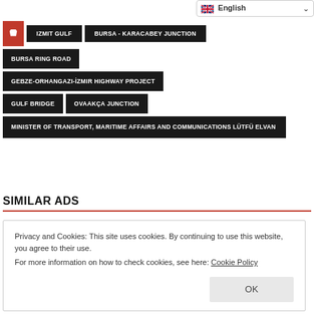English (language selector)
IZMIT GULF
BURSA - KARACABEY JUNCTION
BURSA RING ROAD
GEBZE-ORHANGAZI-İZMIR HIGHWAY PROJECT
GULF BRIDGE
OVAAKÇA JUNCTION
MINISTER OF TRANSPORT, MARITIME AFFAIRS AND COMMUNICATIONS LÜTFÜ ELVAN
SIMILAR ADS
Privacy and Cookies: This site uses cookies. By continuing to use this website, you agree to their use.
For more information on how to check cookies, see here: Cookie Policy